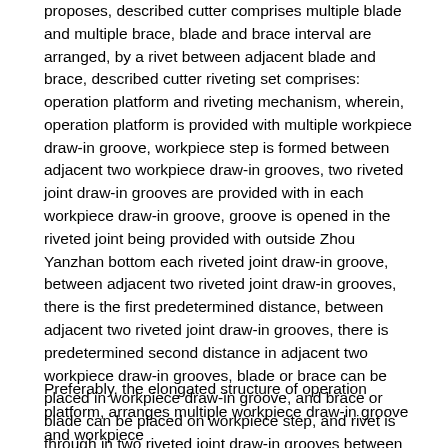proposes, described cutter comprises multiple blade and multiple brace, blade and brace interval are arranged, by a rivet between adjacent blade and brace, described cutter riveting set comprises: operation platform and riveting mechanism, wherein, operation platform is provided with multiple workpiece draw-in groove, workpiece step is formed between adjacent two workpiece draw-in grooves, two riveted joint draw-in grooves are provided with in each workpiece draw-in groove, groove is opened in the riveted joint being provided with outside Zhou Yanzhan bottom each riveted joint draw-in groove, between adjacent two riveted joint draw-in grooves, there is the first predetermined distance, between adjacent two riveted joint draw-in grooves, there is predetermined second distance in adjacent two workpiece draw-in grooves, blade or brace can be placed in workpiece draw-in groove, and brace or blade can be placed on workpiece step, and rivet is through in two riveted joint draw-in grooves between adjacent blade and brace, riveting mechanism is located at above operation platform for riveting rivet.
Preferably, the elongated structure of operation platform, arranges multiple workpiece draw-in groove and workpiece